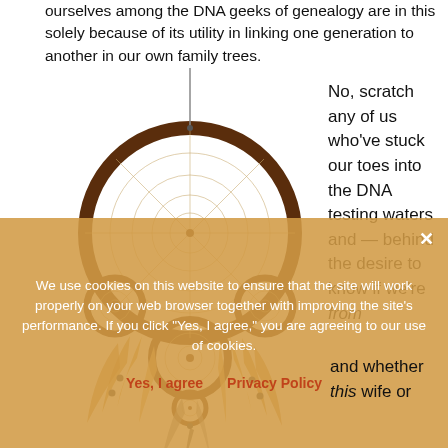ourselves among the DNA geeks of genealogy are in this solely because of its utility in linking one generation to another in our own family trees.
[Figure (photo): A decorative Native American dream catcher with feathers hanging from it, photographed on a white background.]
No, scratch any of us who've stuck our toes into the DNA testing waters and — behind the desire to know if we're from
and whether this wife or
We use cookies on this website to ensure that the site will work properly on your web browser together with improving the site's performance. If you click "Yes, I agree," you are agreeing to our use of cookies.
Yes, I agree   Privacy Policy